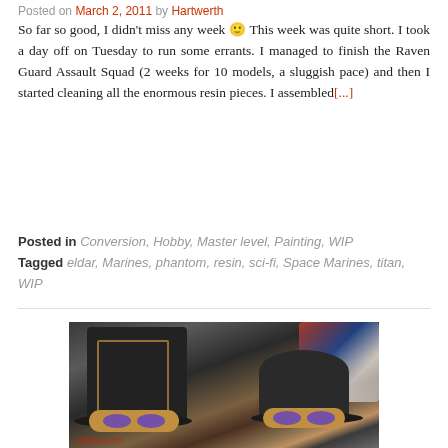Posted on March 2, 2011 by Hartwerth
So far so good, I didn't miss any week 🙂 This week was quite short. I took a day off on Tuesday to run some errants. I managed to finish the Raven Guard Assault Squad (2 weeks for 10 models, a sluggish pace) and then I started cleaning all the enormous resin pieces. I assembled[...]
Posted in Conversion, Hobby, Master level, Painting, WIP
Tagged eldar, Marines, phantom, resin, sci-fi, Space Marines, titan, WIP
[Figure (photo): Two steampunk-style top hats with bronze/gold decorative trim and purple-lens goggles, sitting on a cluttered workshop table with paints and various hobby supplies in the background. Watermark reads @Hartwerth at bottom left.]